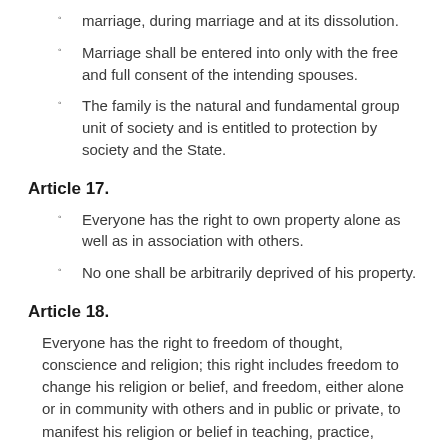marriage, during marriage and at its dissolution.
Marriage shall be entered into only with the free and full consent of the intending spouses.
The family is the natural and fundamental group unit of society and is entitled to protection by society and the State.
Article 17.
Everyone has the right to own property alone as well as in association with others.
No one shall be arbitrarily deprived of his property.
Article 18.
Everyone has the right to freedom of thought, conscience and religion; this right includes freedom to change his religion or belief, and freedom, either alone or in community with others and in public or private, to manifest his religion or belief in teaching, practice, worship and observance.
Article 19.